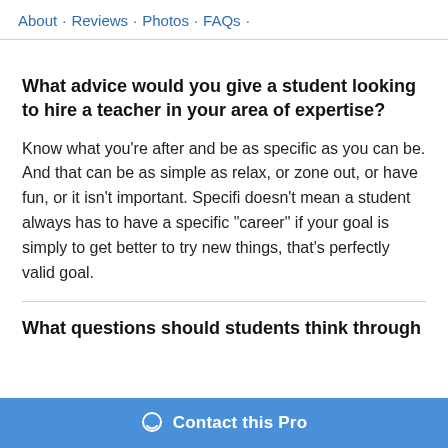About · Reviews · Photos · FAQs ·
What advice would you give a student looking to hire a teacher in your area of expertise?
Know what you're after and be as specific as you can be. And that can be as simple as relax, or zone out, or have fun, or it isn't important. Specifi doesn't mean a student always has to have a specific "career" if your goal is simply to get better to try new things, that's perfectly valid goal.
What questions should students think through
Contact this Pro